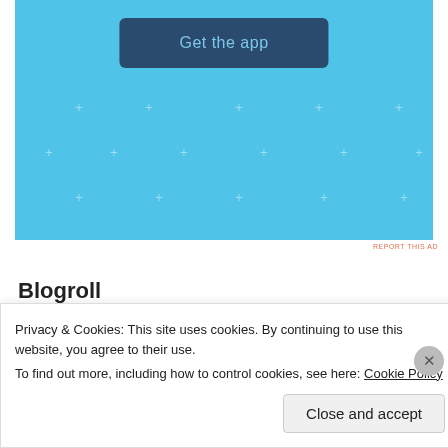[Figure (screenshot): App advertisement banner with light blue background, sparkle/cross decorations, and a dark blue 'Get the app' button]
REPORT THIS AD
Blogroll
A VC
Ben's blog
Both Sides of the Table
Privacy & Cookies: This site uses cookies. By continuing to use this website, you agree to their use. To find out more, including how to control cookies, see here: Cookie Policy
Close and accept